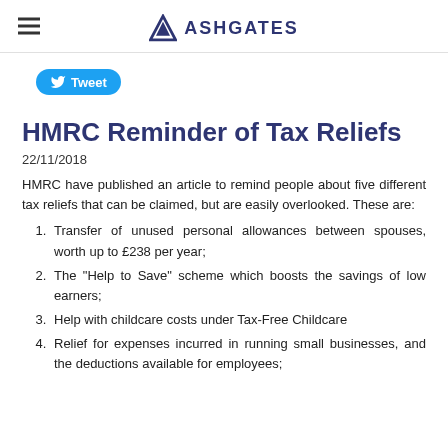ASHGATES
[Figure (logo): Twitter Tweet button in blue with bird icon]
HMRC Reminder of Tax Reliefs
22/11/2018
HMRC have published an article to remind people about five different tax reliefs that can be claimed, but are easily overlooked.  These are:
Transfer of unused personal allowances between spouses, worth up to £238 per year;
The "Help to Save" scheme which boosts the savings of low earners;
Help with childcare costs under Tax-Free Childcare
Relief for expenses incurred in running small businesses, and the deductions available for employees;